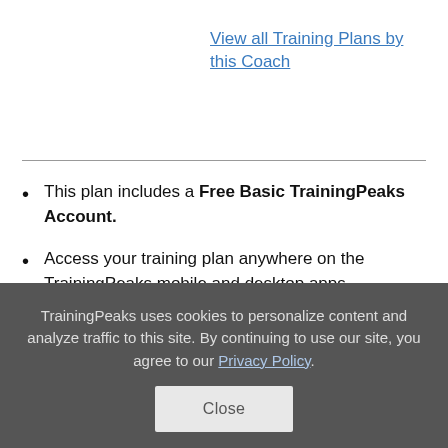View all Training Plans by this Coach
This plan includes a Free Basic TrainingPeaks Account.
Access your training plan anywhere on the TrainingPeaks mobile and desktop apps.
Track your performance with robust data tracking and detailed graphs.
TrainingPeaks uses cookies to personalize content and analyze traffic to this site. By continuing to use our site, you agree to our Privacy Policy.